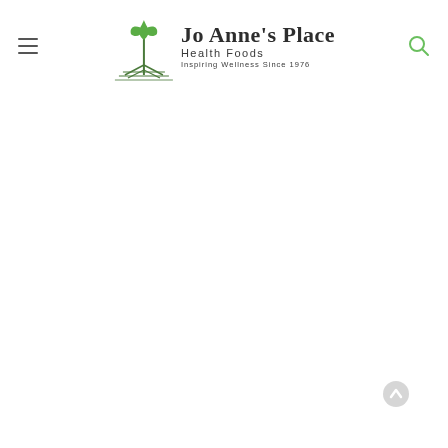[Figure (logo): Jo Anne's Place Health Foods logo with green plant/sprout graphic and text 'Jo Anne's Place Health Foods - Inspiring Wellness Since 1976']
[Figure (other): Hamburger menu icon (three horizontal lines) on the left side of the header]
[Figure (other): Search magnifying glass icon on the right side of the header]
[Figure (other): Scroll-to-top arrow button in bottom right corner]